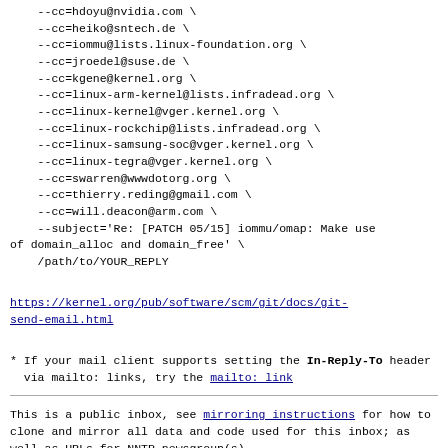--cc=hdoyu@nvidia.com \
    --cc=heiko@sntech.de \
    --cc=iommu@lists.linux-foundation.org \
    --cc=jroedel@suse.de \
    --cc=kgene@kernel.org \
    --cc=linux-arm-kernel@lists.infradead.org \
    --cc=linux-kernel@vger.kernel.org \
    --cc=linux-rockchip@lists.infradead.org \
    --cc=linux-samsung-soc@vger.kernel.org \
    --cc=linux-tegra@vger.kernel.org \
    --cc=swarren@wwwdotorg.org \
    --cc=thierry.reding@gmail.com \
    --cc=will.deacon@arm.com \
    --subject='Re: [PATCH 05/15] iommu/omap: Make use of domain_alloc and domain_free' \
    /path/to/YOUR_REPLY
https://kernel.org/pub/software/scm/git/docs/git-send-email.html
* If your mail client supports setting the In-Reply-To header
  via mailto: links, try the mailto: link
This is a public inbox, see mirroring instructions
for how to clone and mirror all data and code used for
this inbox;
as well as URLs for NNTP newsgroup(s).